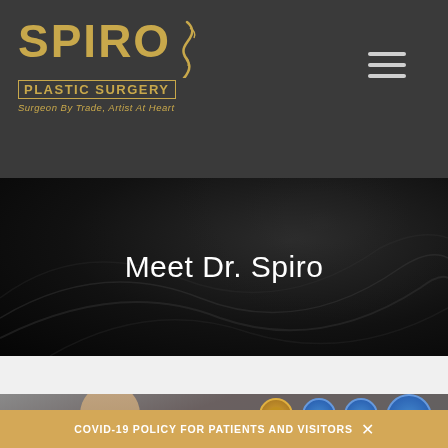SPIRO PLASTIC SURGERY — Surgeon By Trade, Artist At Heart
Meet Dr. Spiro
[Figure (photo): Partial view of doctor (Dr. Spiro) with Jersey Choice award badges visible]
COVID-19 POLICY FOR PATIENTS AND VISITORS ×